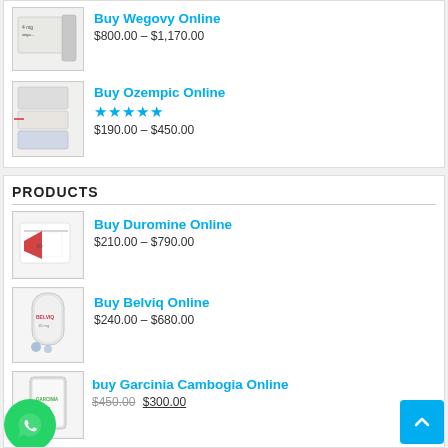[Figure (other): Product listing: Buy Wegovy Online, $800.00 – $1,170.00]
Buy Wegovy Online
$800.00 – $1,170.00
[Figure (other): Product listing: Buy Ozempic Online, rated 5 stars, $190.00 – $450.00]
Buy Ozempic Online
★★★★★
$190.00 – $450.00
PRODUCTS
[Figure (other): Product listing: Buy Duromine Online, $210.00 – $790.00]
Buy Duromine Online
$210.00 – $790.00
[Figure (other): Product listing: Buy Belviq Online, $240.00 – $680.00]
Buy Belviq Online
$240.00 – $680.00
[Figure (other): Product listing: buy Garcinia Cambogia Online, was $450.00 now $300.00]
buy Garcinia Cambogia Online
$450.00  $300.00